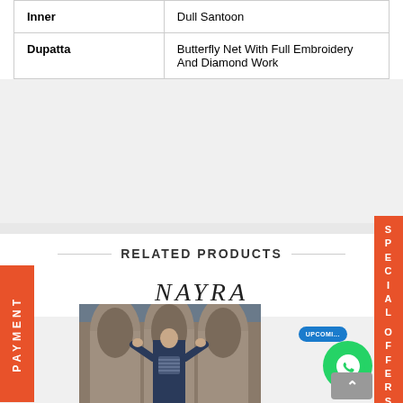| Attribute | Value |
| --- | --- |
| Inner | Dull Santoon |
| Dupatta | Butterfly Net With Full Embroidery And Diamond Work |
RELATED PRODUCTS
[Figure (logo): NAYRA brand logo in serif italic font]
[Figure (photo): Woman in blue embroidered outfit standing in front of arched stone architecture]